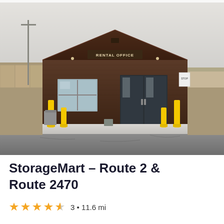[Figure (photo): Exterior photo of a StorageMart facility. A brown brick building with a peaked roof and a sign reading 'RENTAL OFFICE'. Yellow bollards flank the entrance. Storage units visible in the background on the left. Concrete sidewalk in front of the building and a paved parking lot in the foreground.]
StorageMart – Route 2 & Route 2470
3 • 11.6 mi